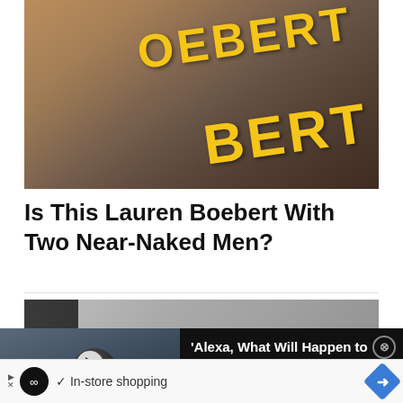[Figure (photo): Blurry photo of people with yellow bold text overlay reading 'BOEBERT']
Is This Lauren Boebert With Two Near-Naked Men?
[Figure (screenshot): Screenshot of a news article page showing a marble-texture image partially overlaid by a video advertisement for Amazon Echo Dot with text: 'Alexa, What Will Happen to Florida in 2025?']
[Figure (screenshot): Bottom advertisement bar showing a black circular logo with infinity symbol, a checkmark, text 'In-store shopping', and a blue diamond navigation icon]